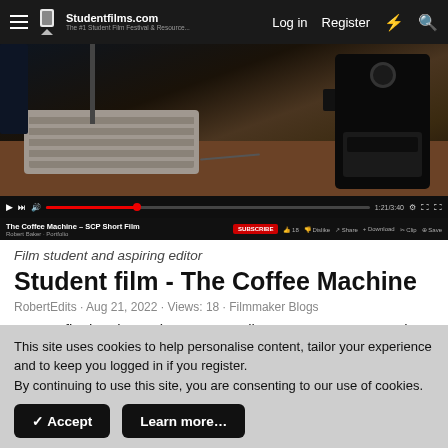Studentfilms.com — Log in | Register
[Figure (screenshot): YouTube embedded video player showing 'The Coffee Machine – SCP Short Film' by Robert Baker · Portfolio, with video controls, progress bar, and action buttons including Subscribe, Like, Dislike, Share, Download, Clip, Save]
Film student and aspiring editor
Student film - The Coffee Machine
RobertEdits · Aug 21, 2022 · Views: 18 · Filmmaker Blogs
For my final major project on my college course I wrote and
This site uses cookies to help personalise content, tailor your experience and to keep you logged in if you register.
By continuing to use this site, you are consenting to our use of cookies.